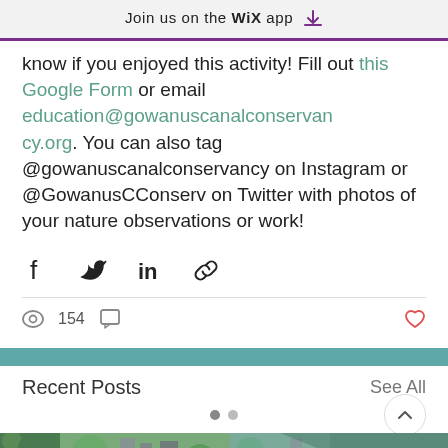Join us on the WiX app ⬇
know if you enjoyed this activity! Fill out this Google Form or email education@gowanuscanalconservancy.org. You can also tag @gowanuscanalconservancy on Instagram or @GowanusCConserv on Twitter with photos of your nature observations or work!
[Figure (other): Social share icons: Facebook, Twitter, LinkedIn, Link]
154
Recent Posts
See All
[Figure (photo): Three thumbnail images of nature/urban scenes at the bottom of the page]